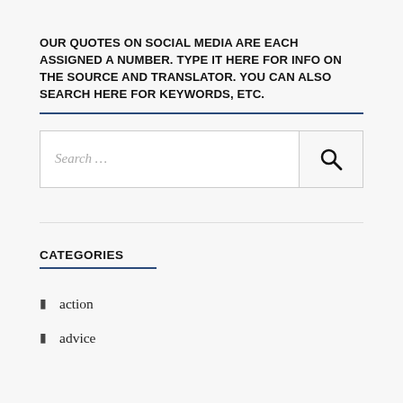OUR QUOTES ON SOCIAL MEDIA ARE EACH ASSIGNED A NUMBER. TYPE IT HERE FOR INFO ON THE SOURCE AND TRANSLATOR. YOU CAN ALSO SEARCH HERE FOR KEYWORDS, ETC.
[Figure (screenshot): Search box with placeholder text 'Search ...' and a magnifying glass search button on the right]
CATEGORIES
action
advice